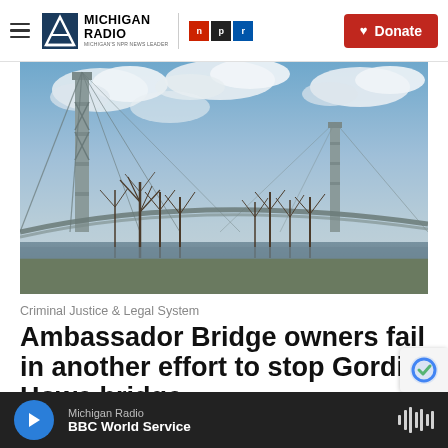Michigan Radio | NPR — Donate
[Figure (photo): Photo of the Ambassador Bridge, a suspension bridge with large steel towers and cables, surrounded by bare winter trees, with a blue cloudy sky in the background and a river visible at the base.]
Criminal Justice & Legal System
Ambassador Bridge owners fail in another effort to stop Gordie Howe bridge
Michigan Radio — BBC World Service (audio player bar)